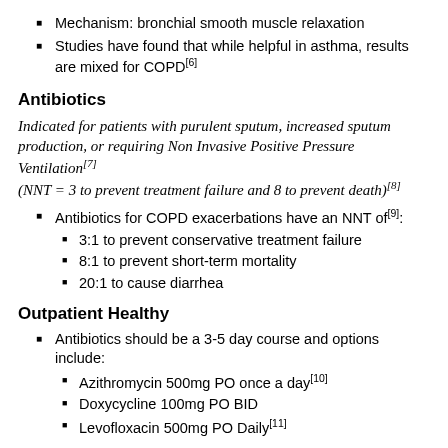Mechanism: bronchial smooth muscle relaxation
Studies have found that while helpful in asthma, results are mixed for COPD[6]
Antibiotics
Indicated for patients with purulent sputum, increased sputum production, or requiring Non Invasive Positive Pressure Ventilation[7] (NNT = 3 to prevent treatment failure and 8 to prevent death)[8]
Antibiotics for COPD exacerbations have an NNT of[9]:
3:1 to prevent conservative treatment failure
8:1 to prevent short-term mortality
20:1 to cause diarrhea
Outpatient Healthy
Antibiotics should be a 3-5 day course and options include:
Azithromycin 500mg PO once a day[10]
Doxycycline 100mg PO BID
Levofloxacin 500mg PO Daily[11]
Outpatient Unhealthy